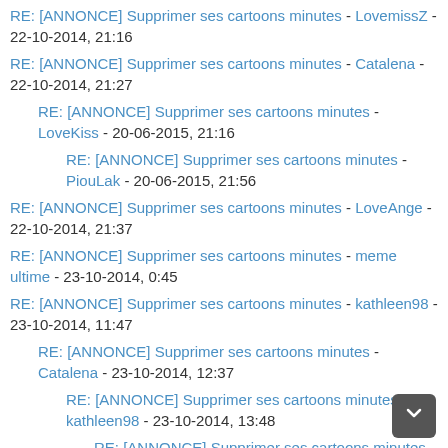RE: [ANNONCE] Supprimer ses cartoons minutes - LovemissZ - 22-10-2014, 21:16
RE: [ANNONCE] Supprimer ses cartoons minutes - Catalena - 22-10-2014, 21:27
RE: [ANNONCE] Supprimer ses cartoons minutes - LoveKiss - 20-06-2015, 21:16
RE: [ANNONCE] Supprimer ses cartoons minutes - PiouLak - 20-06-2015, 21:56
RE: [ANNONCE] Supprimer ses cartoons minutes - LoveAnge - 22-10-2014, 21:37
RE: [ANNONCE] Supprimer ses cartoons minutes - meme ultime - 23-10-2014, 0:45
RE: [ANNONCE] Supprimer ses cartoons minutes - kathleen98 - 23-10-2014, 11:47
RE: [ANNONCE] Supprimer ses cartoons minutes - Catalena - 23-10-2014, 12:37
RE: [ANNONCE] Supprimer ses cartoons minutes - kathleen98 - 23-10-2014, 13:48
RE: [ANNONCE] Supprimer ses cartoons minutes - Catalena - 23-10-2014, 13:59
RE: [ANNONCE] Supprimer ses cartoons minutes - nasma2 - 23-10-2014, 15:21